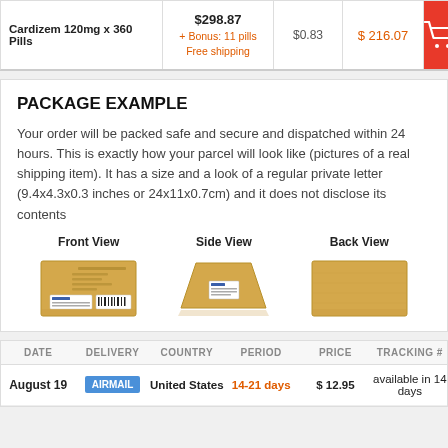|  | Price | Per Pill | Savings |  |
| --- | --- | --- | --- | --- |
| Cardizem 120mg x 360 Pills | $298.87
+ Bonus: 11 pills
Free shipping | $0.83 | $ 216.07 | [cart] |
PACKAGE EXAMPLE
Your order will be packed safe and secure and dispatched within 24 hours. This is exactly how your parcel will look like (pictures of a real shipping item). It has a size and a look of a regular private letter (9.4x4.3x0.3 inches or 24x11x0.7cm) and it does not disclose its contents
[Figure (illustration): Front View of a padded envelope (kraft/golden bubble mailer) showing address label and barcode sticker on the front]
[Figure (illustration): Side View of a padded envelope showing the trapezoidal side profile with a label visible]
[Figure (illustration): Back View of a padded envelope (plain back side, kraft golden color)]
| DATE | DELIVERY | COUNTRY | PERIOD | PRICE | TRACKING # |
| --- | --- | --- | --- | --- | --- |
| August 19 | AIRMAIL | United States | 14-21 days | $ 12.95 | available in 14 days |